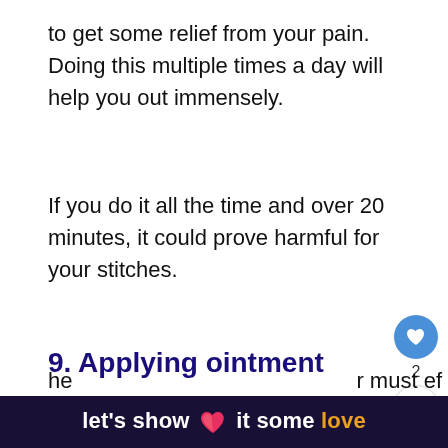to get some relief from your pain. Doing this multiple times a day will help you out immensely.
If you do it all the time and over 20 minutes, it could prove harmful for your stitches.
9. Applying ointment
Some doctors also prescribe applying an ointment which works as an antibio[tic for] pain relief for your stitches. This ointment will
[Figure (screenshot): Social interaction buttons: heart/like button (blue circle with heart icon), like count '2', share button (circle with share icon)]
[Figure (screenshot): What's Next widget showing a thumbnail image and text 'WHAT'S NEXT → Buzzing Or Vibrating...']
let's show it some love